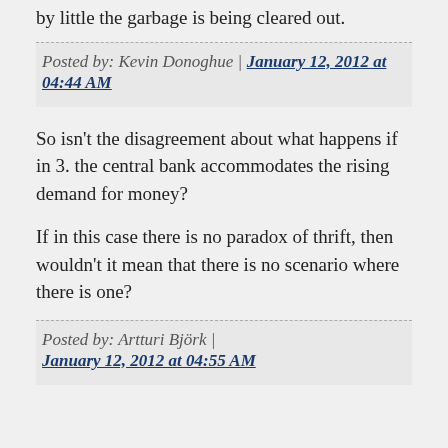by little the garbage is being cleared out.
Posted by: Kevin Donoghue | January 12, 2012 at 04:44 AM
So isn't the disagreement about what happens if in 3. the central bank accommodates the rising demand for money?
If in this case there is no paradox of thrift, then wouldn't it mean that there is no scenario where there is one?
Posted by: Artturi Björk | January 12, 2012 at 04:55 AM